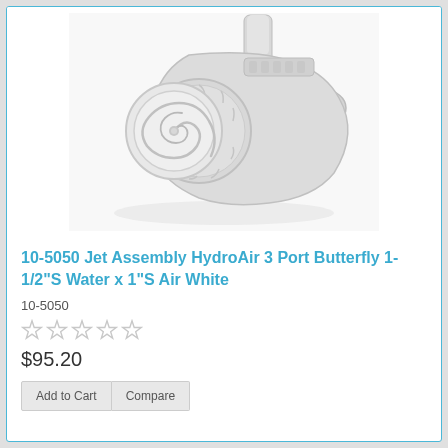[Figure (photo): White plastic HydroAir 3-port butterfly jet assembly with spiral face and two side ports]
10-5050 Jet Assembly HydroAir 3 Port Butterfly 1-1/2"S Water x 1"S Air White
10-5050
[Figure (other): Five empty star rating icons (no stars filled)]
$95.20